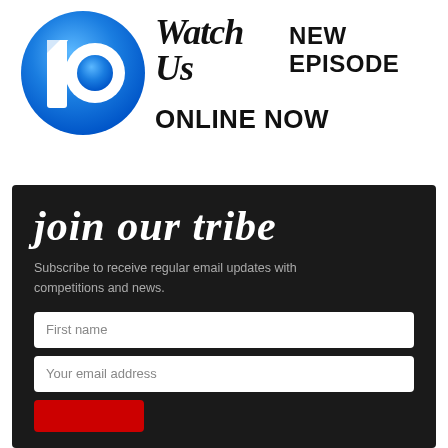[Figure (logo): Channel 10 logo: white numeral 10 on a circular blue gradient background]
Watch Us NEW EPISODE ONLINE NOW
join our tribe
Subscribe to receive regular email updates with competitions and news.
First name
Your email address